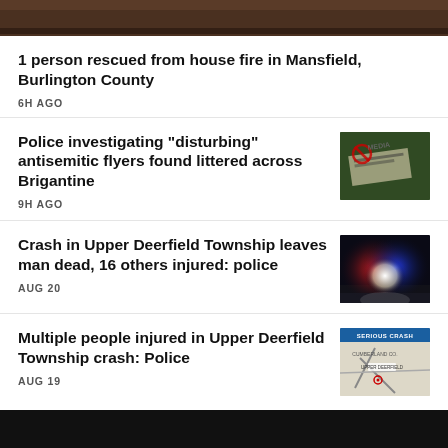[Figure (photo): Top news image, dark/brown outdoor scene, partially visible]
1 person rescued from house fire in Mansfield, Burlington County
6H AGO
Police investigating "disturbing" antisemitic flyers found littered across Brigantine
9H AGO
[Figure (photo): Close-up of antisemitic flyer on ground with partial text visible]
Crash in Upper Deerfield Township leaves man dead, 16 others injured: police
AUG 20
[Figure (photo): Night scene with police car lights, dark background]
Multiple people injured in Upper Deerfield Township crash: Police
AUG 19
[Figure (map): Map graphic showing SERIOUS CRASH location in Cumberland Co area with road markings]